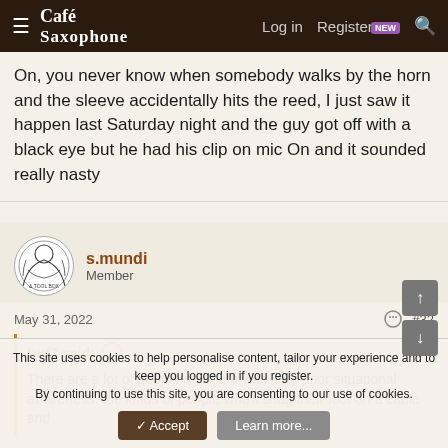Café Saxophone — Log in  Register  NEW  Search
On, you never know when somebody walks by the horn and the sleeve accidentally hits the reed, I just saw it happen last Saturday night and the guy got off with a black eye but he had his clip on mic On and it sounded really nasty
s.mundi
Member
May 31, 2022  #32
turf3 said: ↑
There are a lot of people out there with very poor situational awareness: the kinds of people who'll snag their foot on a cable and
This site uses cookies to help personalise content, tailor your experience and to keep you logged in if you register.
By continuing to use this site, you are consenting to our use of cookies.
✓ Accept   Learn more...